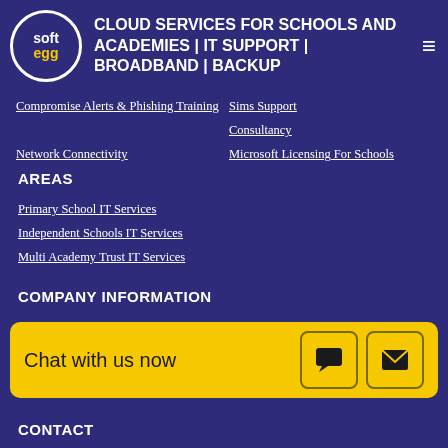CLOUD SERVICES FOR SCHOOLS AND ACADEMIES | IT SUPPORT | BROADBAND | BACKUP
Compromise Alerts & Phishing Training
Sims Support
Consultancy
Network Connectivity
Microsoft Licensing For Schools
AREAS
Primary School IT Services
Independent Schools IT Services
Multi Academy Trust IT Services
COMPANY INFORMATION
About Us
Testimonials
Bl
Chat with us now
CONTACT